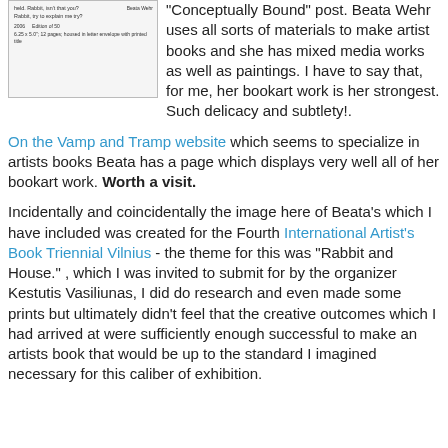[Figure (photo): Thumbnail image of an artist book page with small text including 'Beata Wehr' and edition information]
"Conceptually Bound" post. Beata Wehr uses all sorts of materials to make artist books and she has mixed media works as well as paintings. I have to say that, for me, her bookart work is her strongest. Such delicacy and subtlety!.
On the Vamp and Tramp website which seems to specialize in artists books Beata has a page which displays very well all of her bookart work. Worth a visit.
Incidentally and coincidentally the image here of Beata's which I have included was created for the Fourth International Artist's Book Triennial Vilnius - the theme for this was "Rabbit and House." , which I was invited to submit for by the organizer
Kestutis Vasiliunas, I did do research and even made some prints but ultimately didn't feel that the creative outcomes which I had arrived at were sufficiently enough successful to make an artists book that would be up to the standard I imagined necessary for this caliber of exhibition.